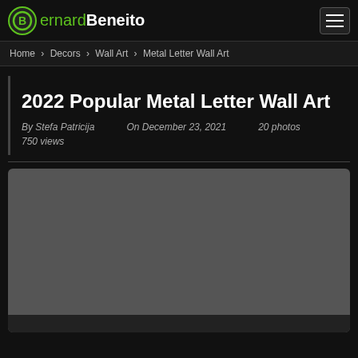BernardBeneito
Home › Decors › Wall Art › Metal Letter Wall Art
2022 Popular Metal Letter Wall Art
By Stefa Patricija    On December 23, 2021    20 photos
750 views
[Figure (photo): Large image placeholder area with dark gray background, rounded corners, and a darker bar at the bottom]